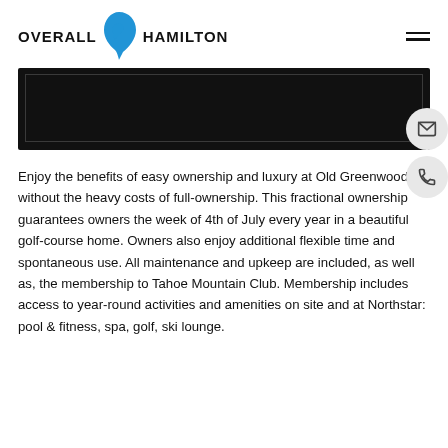OVERALL HAMILTON
[Figure (photo): Dark/black hero image banner with subtle border, representing a property or golf course scene]
Enjoy the benefits of easy ownership and luxury at Old Greenwood without the heavy costs of full-ownership. This fractional ownership guarantees owners the week of 4th of July every year in a beautiful golf-course home. Owners also enjoy additional flexible time and spontaneous use. All maintenance and upkeep are included, as well as, the membership to Tahoe Mountain Club. Membership includes access to year-round activities and amenities on site and at Northstar: pool & fitness, spa, golf, ski lounge.